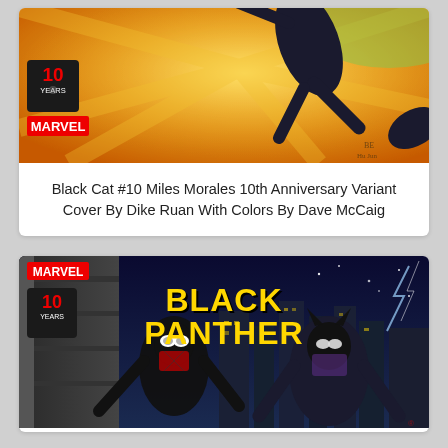[Figure (illustration): Black Cat #10 Miles Morales 10th Anniversary Variant Cover illustration — Marvel comic book cover with a dark figure leaping against an orange/yellow and green burst background, featuring '10 Years' badge and Marvel logo]
Black Cat #10 Miles Morales 10th Anniversary Variant Cover By Dike Ruan With Colors By Dave McCaig
[Figure (illustration): Black Panther comic cover illustration — Marvel comic book cover with 'BLACK PANTHER' in large yellow letters, featuring Miles Morales Spider-Man and Black Panther characters in an action scene, with Marvel logo and '10 Years' badge, city background at night]